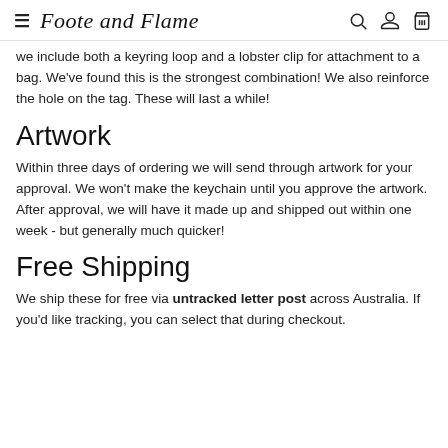Foote and Flame
we include both a keyring loop and a lobster clip for attachment to a bag. We've found this is the strongest combination! We also reinforce the hole on the tag. These will last a while!
Artwork
Within three days of ordering we will send through artwork for your approval. We won't make the keychain until you approve the artwork. After approval, we will have it made up and shipped out within one week - but generally much quicker!
Free Shipping
We ship these for free via untracked letter post across Australia. If you'd like tracking, you can select that during checkout.